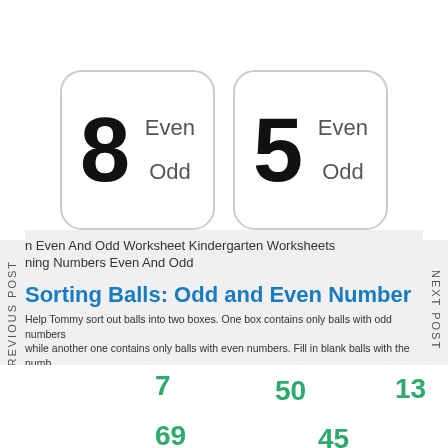[Figure (illustration): Worksheet card showing number 8 with Even and Odd options]
[Figure (illustration): Worksheet card showing number 5 with Even and Odd options]
PREVIOUS POST
NEXT POST
n Even And Odd Worksheet Kindergarten Worksheets
ning Numbers Even And Odd
Sorting Balls: Odd and Even Number
Help Tommy sort out balls into two boxes.  One box contains only balls with odd numbers while another one contains only balls with even numbers.  Fill in blank balls with the numb you think belong in each box.
7  50  13  356  57  18  42  69  45  103  121  202  76